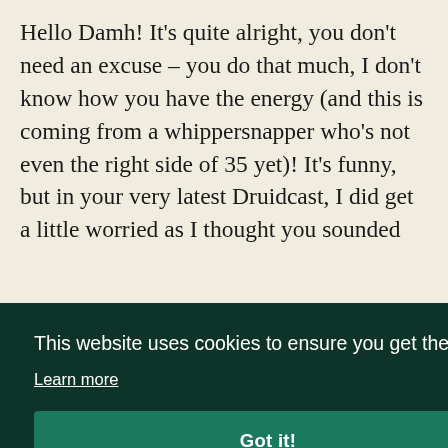Hello Damh! It's quite alright, you don't need an excuse – you do that much, I don't know how you have the energy (and this is coming from a whippersnapper who's not even the right side of 35 yet)! It's funny, but in your very latest Druidcast, I did get a little worried as I thought you sounded
This website uses cookies to ensure you get the best experience on our website.
Learn more
Got it!
lake district a few years ago. Even